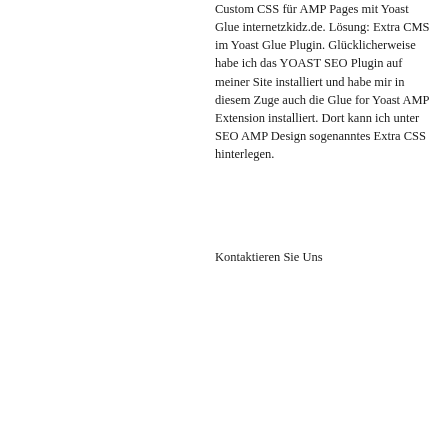Custom CSS für AMP Pages mit Yoast Glue internetzkidz.de. Lösung: Extra CMS im Yoast Glue Plugin. Glücklicherweise habe ich das YOAST SEO Plugin auf meiner Site installiert und habe mir in diesem Zuge auch die Glue for Yoast AMP Extension installiert. Dort kann ich unter SEO AMP Design sogenanntes Extra CSS hinterlegen.
Kontaktieren Sie Uns